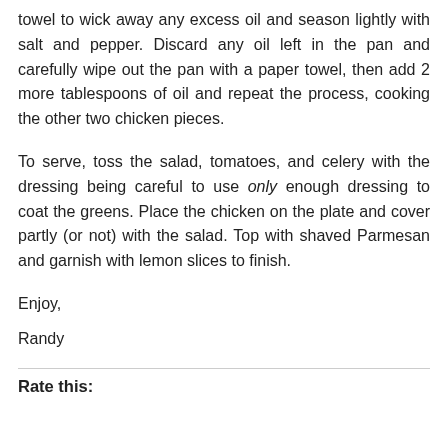towel to wick away any excess oil and season lightly with salt and pepper. Discard any oil left in the pan and carefully wipe out the pan with a paper towel, then add 2 more tablespoons of oil and repeat the process, cooking the other two chicken pieces.
To serve, toss the salad, tomatoes, and celery with the dressing being careful to use only enough dressing to coat the greens. Place the chicken on the plate and cover partly (or not) with the salad. Top with shaved Parmesan and garnish with lemon slices to finish.
Enjoy,
Randy
Rate this: